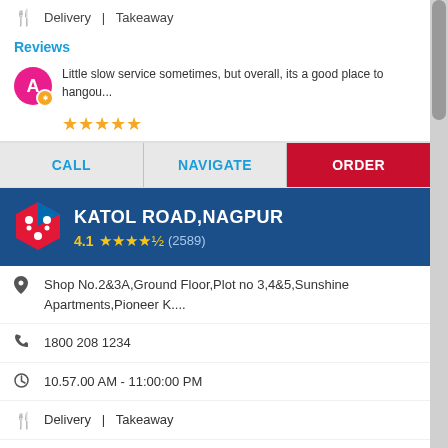Delivery | Takeaway
Reviews
Little slow service sometimes, but overall, its a good place to hangou...
★★★★★
CALL | NAVIGATE | ORDER
KATOL ROAD,NAGPUR
4.1 ★★★★☆ (2589)
Shop No.2&3A,Ground Floor,Plot no 3,4&5,Sunshine Apartments,Pioneer K....
1800 208 1234
10.57.00 AM - 11:00:00 PM
Delivery | Takeaway
Reviews